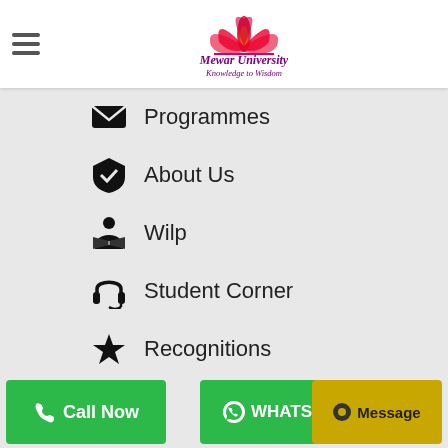[Figure (logo): Mewar University logo with lotus flower and text 'Mewar University - Knowledge to Wisdom']
Programmes
About Us
Wilp
Student Corner
Recognitions
Admission
Contact
Call Now
WHATSAPP
Message